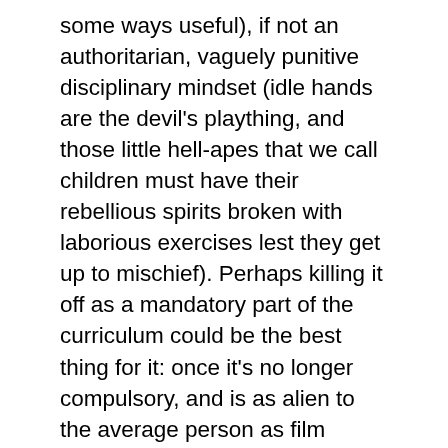some ways useful), if not an authoritarian, vaguely punitive disciplinary mindset (idle hands are the devil's plaything, and those little hell-apes that we call children must have their rebellious spirits broken with laborious exercises lest they get up to mischief). Perhaps killing it off as a mandatory part of the curriculum could be the best thing for it: once it's no longer compulsory, and is as alien to the average person as film photography or slide rules, some subset of artisanal crafters and/or hipster contrarians will take it upon themselves to revive this vintage skill and take it further than it would have otherwise gone?
The article, on ABC News, speculates on the possibility of Australia following the Finnish lead and removing cursive writing from its schools. I expect that will happen somewhere around the time of them ditching King Cha...